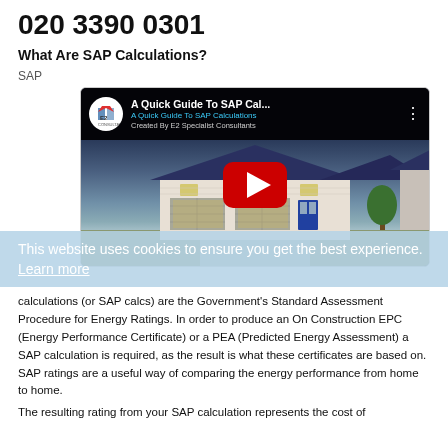020 3390 0301
What Are SAP Calculations?
SAP
[Figure (screenshot): YouTube video thumbnail showing a house with a red play button. Title reads 'A Quick Guide To SAP Cal...' with subtitle 'A Quick Guide To SAP Calculations' and 'Created By E2 Specialist Consultants'. E2 Consultants logo visible top left.]
This website uses cookies to ensure you get the best experience. Learn more
calculations (or SAP calcs) are the Government's Standard Assessment Procedure for Energy Ratings. In order to produce an On Construction EPC (Energy Performance Certificate) or a PEA (Predicted Energy Assessment) a SAP calculation is required, as the result is what these certificates are based on. SAP ratings are a useful way of comparing the energy performance from home to home.
The resulting rating from your SAP calculation represents the cost of